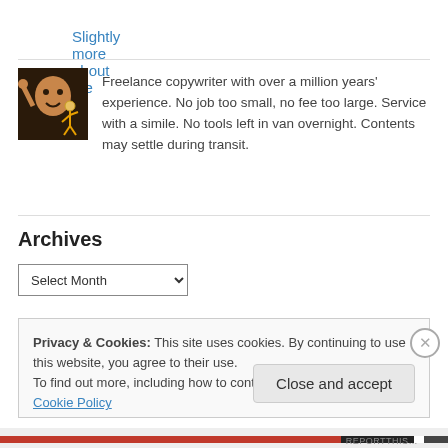Slightly more about me
[Figure (photo): Profile photo of a smiling man waving, with a cartoon figure overlay, dark background]
Freelance copywriter with over a million years' experience. No job too small, no fee too large. Service with a simile. No tools left in van overnight. Contents may settle during transit.
Archives
Select Month (dropdown)
Privacy & Cookies: This site uses cookies. By continuing to use this website, you agree to their use.
To find out more, including how to control cookies, see here: Cookie Policy
Close and accept